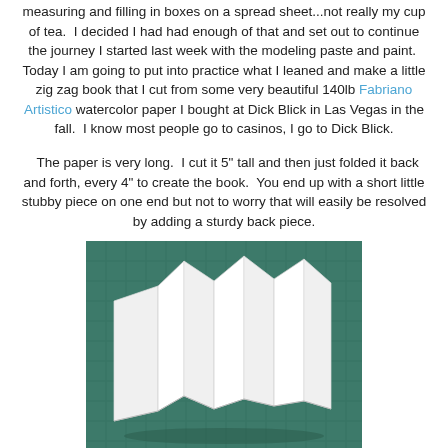measuring and filling in boxes on a spread sheet...not really my cup of tea.  I decided I had had enough of that and set out to continue the journey I started last week with the modeling paste and paint.  Today I am going to put into practice what I leaned and make a little zig zag book that I cut from some very beautiful 140lb Fabriano Artistico watercolor paper I bought at Dick Blick in Las Vegas in the fall.  I know most people go to casinos, I go to Dick Blick.
The paper is very long.  I cut it 5" tall and then just folded it back and forth, every 4" to create the book.  You end up with a short little stubby piece on one end but not to worry that will easily be resolved by adding a sturdy back piece.
[Figure (photo): A photograph of a white paper zigzag (accordion) book folded back and forth, standing on a green cutting mat background. The folded paper creates a series of triangular peaks and valleys.]